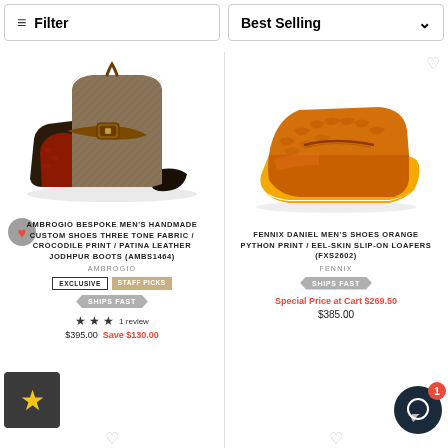Filter
Best Selling
[Figure (photo): Ambrogio bespoke men's handmade custom shoes - three tone fabric/crocodile print/patina leather jodhpur boots (AMBS1464)]
AMBROGIO BESPOKE MEN'S HANDMADE CUSTOM SHOES THREE TONE FABRIC / CROCODILE PRINT / PATINA LEATHER JODHPUR BOOTS (AMBS1464)
AMBROGIO
EXCLUSIVE
STAFF PICKS
SHIPS FAST
1 review
$395.00  Save $130.00
[Figure (photo): Fennix Daniel Men's Shoes Orange Python Print / Eel-Skin Slip-On Loafers (FXS2602)]
FENNIX DANIEL MEN'S SHOES ORANGE PYTHON PRINT / EEL-SKIN SLIP-ON LOAFERS (FXS2602)
FENNIX
SHIPS FAST
Special Price at Cart $269.50
$385.00